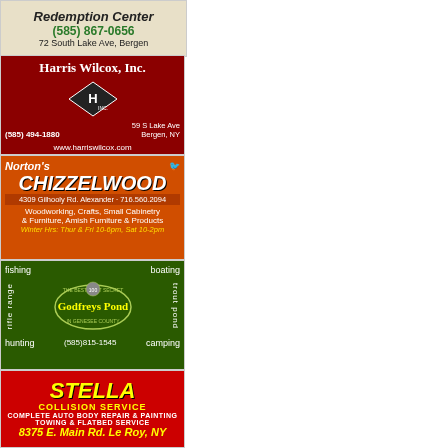[Figure (infographic): Redemption Center ad: phone (585) 867-0656, address 72 South Lake Ave, Bergen]
[Figure (infographic): Harris Wilcox, Inc. ad on dark red background with diamond logo. Phone (585) 494-1880, 59 S Lake Ave, Bergen NY, www.harriswilcox.com]
[Figure (infographic): Norton's Chizzelwood ad on orange background. 4309 Gilhooly Rd. Alexander · 716.560.2094. Woodworking, Crafts, Small Cabinetry & Furniture, Amish Furniture & Products. Winter Hrs: Thur & Fri 10-6pm, Sat 10-2pm]
[Figure (infographic): Godfreys Pond ad on green background. fishing, boating, rifle range, trout pond, hunting, camping. (585)815-1545. The Best Kept Secret in Genesee County. 100 anniversary.]
[Figure (infographic): Stella Collision Service ad on red background. Complete Auto Body Repair & Painting, Towing & Flatbed Service. 8375 E. Main Rd. Le Roy, NY. (585) 768-7370]
[Figure (infographic): Terance Cranston Construction Remodeling ad (partially visible)]